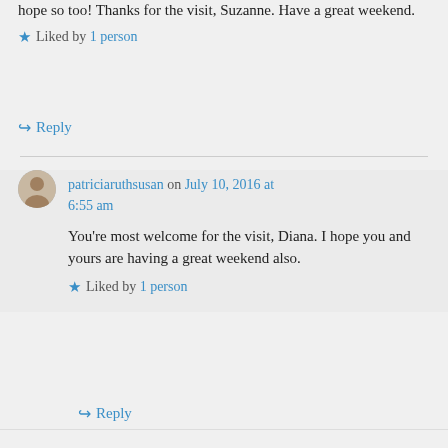hope so too! Thanks for the visit, Suzanne. Have a great weekend.
★ Liked by 1 person
↪ Reply
patriciaruthsusan on July 10, 2016 at 6:55 am
You're most welcome for the visit, Diana. I hope you and yours are having a great weekend also.
★ Liked by 1 person
↪ Reply